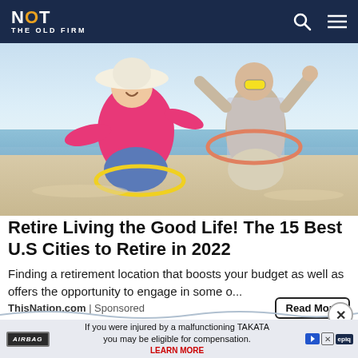NOT THE OLD FIRM
[Figure (photo): Two elderly people on a beach joyfully using hula hoops. A woman in a pink top and wide-brimmed white hat, and a man in a plaid shirt with sunglasses, both laughing and celebrating.]
Retire Living the Good Life! The 15 Best U.S Cities to Retire in 2022
Finding a retirement location that boosts your budget as well as offers the opportunity to engage in some o...
ThisNation.com | Sponsored
[Figure (screenshot): Advertisement banner for TAKATA airbag lawsuit compensation. Shows AIRBAG label, text 'If you were injured by a malfunctioning TAKATA you may be eligible for compensation. LEARN MORE', with epiq logo and ad control icons.]